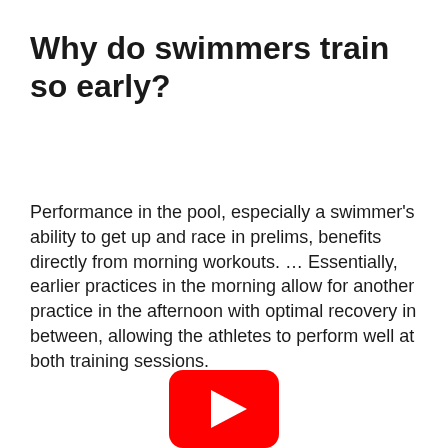Why do swimmers train so early?
Performance in the pool, especially a swimmer's ability to get up and race in prelims, benefits directly from morning workouts. … Essentially, earlier practices in the morning allow for another practice in the afternoon with optimal recovery in between, allowing the athletes to perform well at both training sessions.
[Figure (other): YouTube play button icon (red rounded rectangle with white triangle play arrow), partially visible at the bottom center of the page.]